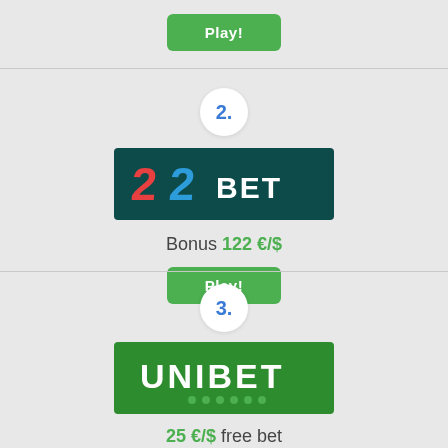[Figure (other): Green Play! button at top]
[Figure (other): Ranking number 2 in circle]
[Figure (logo): 22BET logo on dark teal background]
Bonus 122 €/$
[Figure (other): Green Play! button for 22BET]
[Figure (other): Ranking number 3 in circle]
[Figure (logo): UNIBET logo on green background]
25 €/$ free bet
[Figure (other): Green Play! button for Unibet]